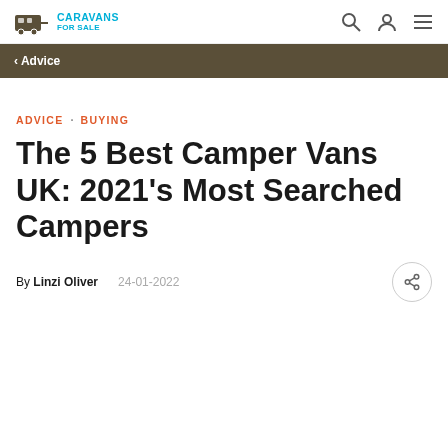Caravans For Sale
< Advice
ADVICE · BUYING
The 5 Best Camper Vans UK: 2021's Most Searched Campers
By Linzi Oliver   24-01-2022